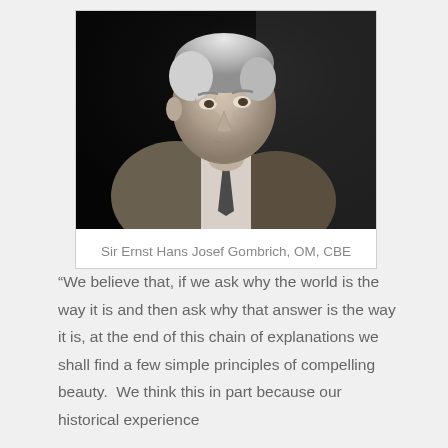[Figure (photo): Black and white photograph of an elderly man in a suit and tie, looking slightly upward and to the right]
Sir Ernst Hans Josef Gombrich, OM, CBE
“We believe that, if we ask why the world is the way it is and then ask why that answer is the way it is, at the end of this chain of explanations we shall find a few simple principles of compelling beauty.  We think this in part because our historical experience